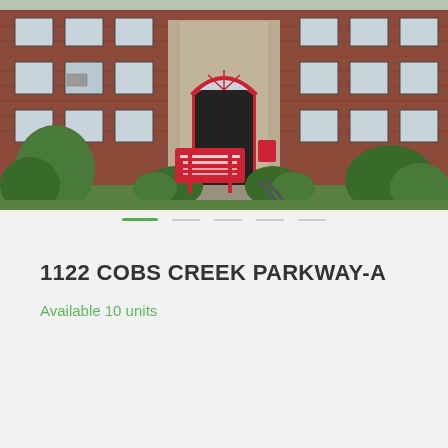[Figure (photo): Exterior photo of a brick apartment building with red-trimmed arched entrance, red property sign reading 'Huffman Place', green bushes, and paved walkway]
1122 COBS CREEK PARKWAY-A
Available 10 units